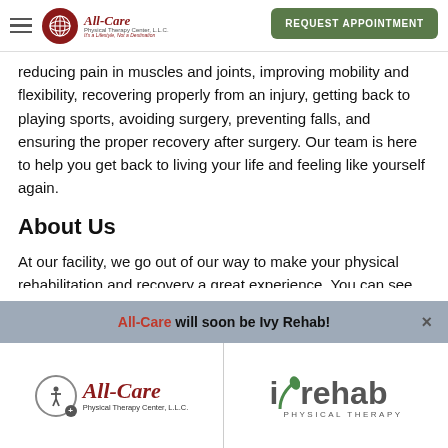[Figure (logo): All-Care Physical Therapy Center LLC logo with hamburger menu and Request Appointment button]
reducing pain in muscles and joints, improving mobility and flexibility, recovering properly from an injury, getting back to playing sports, avoiding surgery, preventing falls, and ensuring the proper recovery after surgery. Our team is here to help you get back to living your life and feeling like yourself again.
About Us
At our facility, we go out of our way to make your physical rehabilitation and recovery a great experience. You can see us with or without a prescription from your
All-Care will soon be Ivy Rehab!
[Figure (logo): All-Care Physical Therapy Center LLC logo and Ivy Rehab Physical Therapy logo side by side in footer]